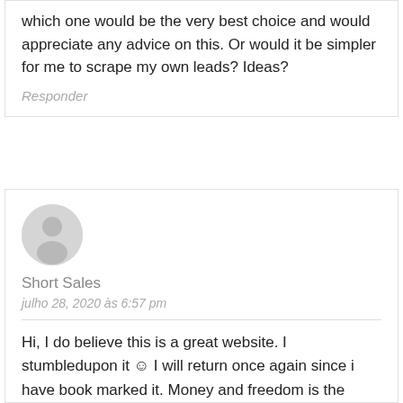which one would be the very best choice and would appreciate any advice on this. Or would it be simpler for me to scrape my own leads? Ideas?
Responder
[Figure (illustration): Generic user avatar icon — a grey circle with a person silhouette]
Short Sales
julho 28, 2020 às 6:57 pm
Hi, I do believe this is a great website. I stumbledupon it ☺ I will return once again since i have book marked it. Money and freedom is the